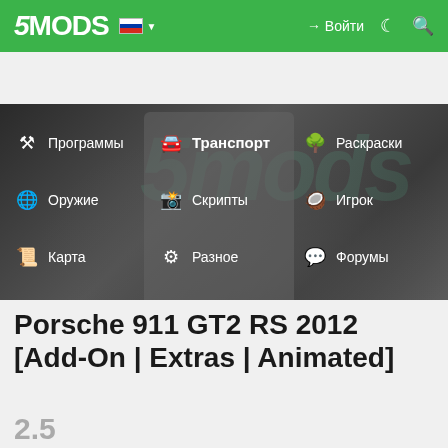5MODS — Войти
[Figure (screenshot): Website navigation menu for 5mods.ru with categories: Программы, Оружие, Карта, Больше, Транспорт (highlighted), Скрипты, Разное, Раскраски, Игрок, Форумы]
Porsche 911 GT2 RS 2012 [Add-On | Extras | Animated]
2.5